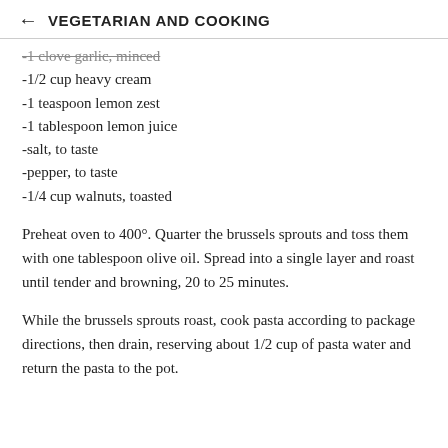← VEGETARIAN AND COOKING
-1 clove garlic, minced
-1/2 cup heavy cream
-1 teaspoon lemon zest
-1 tablespoon lemon juice
-salt, to taste
-pepper, to taste
-1/4 cup walnuts, toasted
Preheat oven to 400°. Quarter the brussels sprouts and toss them with one tablespoon olive oil. Spread into a single layer and roast until tender and browning, 20 to 25 minutes.
While the brussels sprouts roast, cook pasta according to package directions, then drain, reserving about 1/2 cup of pasta water and return the pasta to the pot.